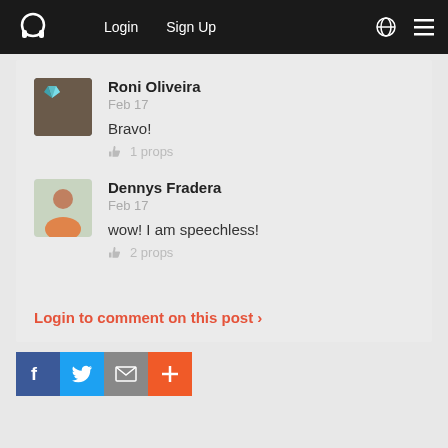Login  Sign Up
Roni Oliveira
Feb 17
Bravo!
👍 1 props
Dennys Fradera
Feb 17
wow! I am speechless!
👍 2 props
Login to comment on this post ›
[Figure (infographic): Social share buttons: Facebook, Twitter, Email, Plus/More]